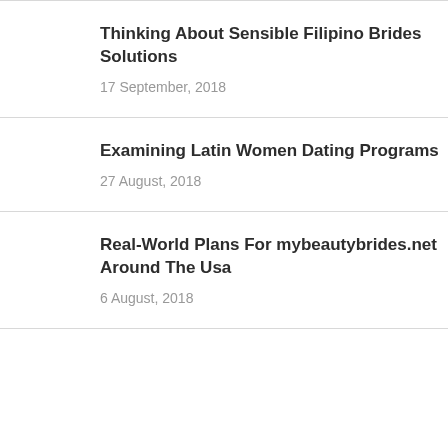Thinking About Sensible Filipino Brides Solutions
17 September, 2018
Examining Latin Women Dating Programs
27 August, 2018
Real-World Plans For mybeautybrides.net Around The Usa
6 August, 2018